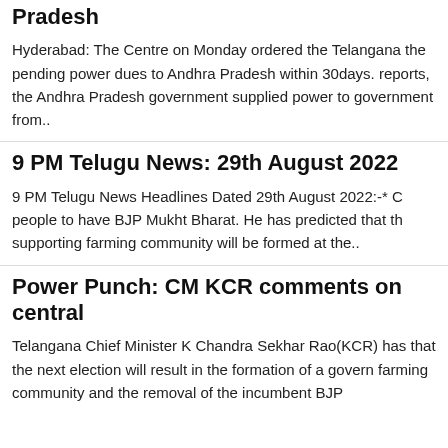Pradesh
Hyderabad: The Centre on Monday ordered the Telangana the pending power dues to Andhra Pradesh within 30days. reports, the Andhra Pradesh government supplied power to government from..
9 PM Telugu News: 29th August 2022
9 PM Telugu News Headlines Dated 29th August 2022:-* C people to have BJP Mukht Bharat. He has predicted that th supporting farming community will be formed at the..
Power Punch: CM KCR comments on central
Telangana Chief Minister K Chandra Sekhar Rao(KCR) has that the next election will result in the formation of a govern farming community and the removal of the incumbent BJP